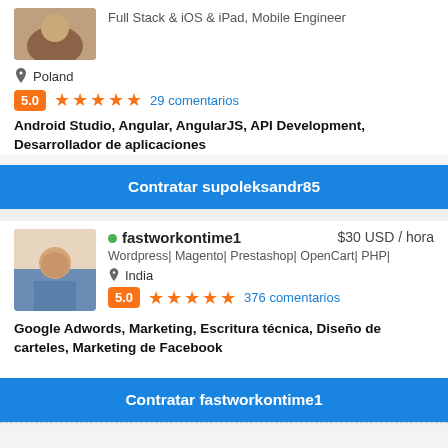[Figure (photo): Profile photo of supoleksandr85 (partially visible at top)]
Poland
5.0 ★★★★★ 29 comentarios
Android Studio, Angular, AngularJS, API Development, Desarrollador de aplicaciones
Contratar supoleksandr85
[Figure (photo): Profile photo of fastworkontime1, man in blue shirt seated]
fastworkontime1   $30 USD / hora
Wordpress| Magento| Prestashop| OpenCart| PHP|
India
5.0 ★★★★★ 376 comentarios
Google Adwords, Marketing, Escritura técnica, Diseño de carteles, Marketing de Facebook
Contratar fastworkontime1